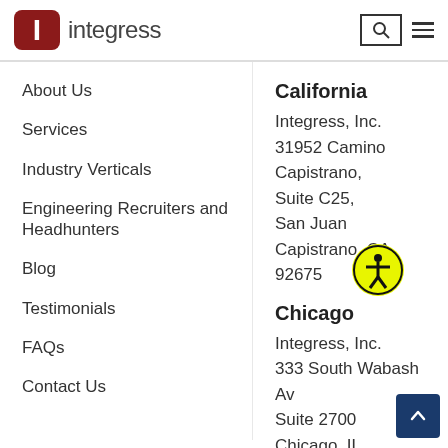integress
About Us
Services
Industry Verticals
Engineering Recruiters and Headhunters
Blog
Testimonials
FAQs
Contact Us
California
Integress, Inc.
31952 Camino Capistrano,
Suite C25,
San Juan Capistrano, CA
92675
Chicago
Integress, Inc.
333 South Wabash Av
Suite 2700
Chicago, IL
60604
Call Us: